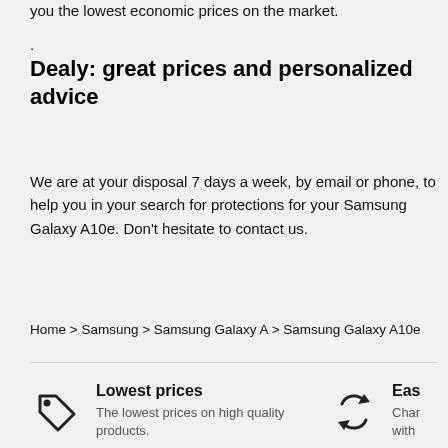you the lowest economic prices on the market.
.
Dealy: great prices and personalized advice
We are at your disposal 7 days a week, by email or phone, to help you in your search for protections for your Samsung Galaxy A10e. Don't hesitate to contact us.
Home > Samsung > Samsung Galaxy A > Samsung Galaxy A10e
Lowest prices
The lowest prices on high quality products.
Eas
Char
with